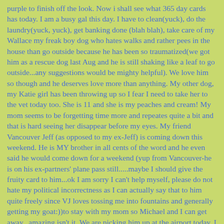purple to finish off the look. Now i shall see what 365 day cards has today. I am a busy gal this day. I have to clean(yuck), do the laundry(yuck, yuck), get banking done (blah blah), take care of my Wallace my freak boy dog who hates walks and rather pees in the house than go outside because he has been so traumatized(we got him as a rescue dog last Aug and he is still shaking like a leaf to go outside...any suggestions would be mighty helpful). We love him so though and he deserves love more than anything. My other dog, my Katie girl has been throwing up so I fear I need to take her to the vet today too. She is 11 and she is my peaches and cream! My mom seems to be forgetting time more and repeates quite a bit and that is hard seeing her disappear before my eyes. My friend Vancouver Jeff (as opposed to my ex-Jeff) is coming down this weekend. He is MY brother in all cents of the word and he even said he would come down for a weekend (yup from Vancouver-he is on his ex-partners' plane pass still.....maybe I should give the fruity card to him...ok I am sorry I can't help myself, please do not hate my political incorrectness as I can actually say that to him quite freely since VJ loves tossing me into fountains and generally getting my goat:))to stay with my mom so Michael and I can get away...amazing isn't it. We are picking him up at the airport today. I plan on doing something I have not done yet with him---bucket